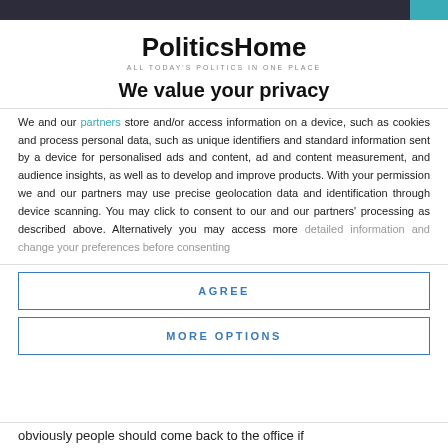PoliticsHome — ALL TODAY'S POLITICS IN ONE PLACE
We value your privacy
We and our partners store and/or access information on a device, such as cookies and process personal data, such as unique identifiers and standard information sent by a device for personalised ads and content, ad and content measurement, and audience insights, as well as to develop and improve products. With your permission we and our partners may use precise geolocation data and identification through device scanning. You may click to consent to our and our partners' processing as described above. Alternatively you may access more detailed information and change your preferences before consenting
AGREE
MORE OPTIONS
obviously people should come back to the office if